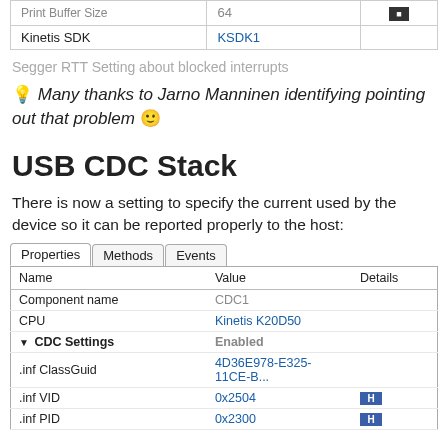| Name | Value | Details |
| --- | --- | --- |
| Print Buffer Size | 64 |  |
| Kinetis SDK | KSDK1 |  |
Segger RTT Setting about blocked interrupts
💡 Many thanks to Jarno Manninen identifying pointing out that problem 🙂
USB CDC Stack
There is now a setting to specify the current used by the device so it can be reported properly to the host:
| Name | Value | Details |
| --- | --- | --- |
| Component name | CDC1 |  |
| CPU | Kinetis K20D50 |  |
| CDC Settings | Enabled |  |
| .inf ClassGuid | 4D36E978-E325-11CE-B... |  |
| .inf VID | 0x2504 | H |
| .inf PID | 0x2300 | H |